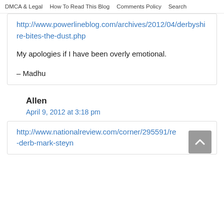DMCA & Legal   How To Read This Blog   Comments Policy   Search
http://www.powerlineblog.com/archives/2012/04/derbyshire-bites-the-dust.php
My apologies if I have been overly emotional.
– Madhu
Allen
April 9, 2012 at 3:18 pm
http://www.nationalreview.com/corner/295591/re-derb-mark-steyn